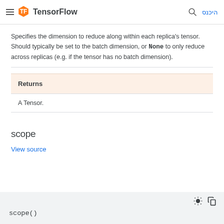TensorFlow
Specifies the dimension to reduce along within each replica's tensor. Should typically be set to the batch dimension, or None to only reduce across replicas (e.g. if the tensor has no batch dimension).
| Returns |
| --- |
| A Tensor. |
scope
View source
scope()